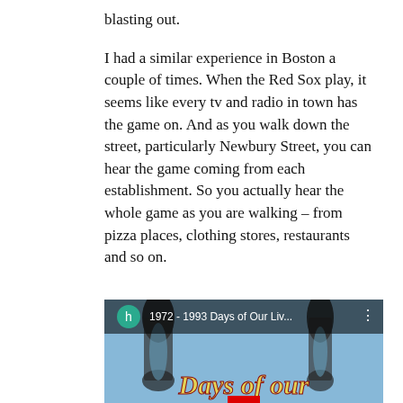blasting out.
I had a similar experience in Boston a couple of times. When the Red Sox play, it seems like every tv and radio in town has the game on. And as you walk down the street, particularly Newbury Street, you can hear the game coming from each establishment. So you actually hear the whole game as you are walking – from pizza places, clothing stores, restaurants and so on.
[Figure (screenshot): A YouTube video thumbnail showing '1972 - 1993 Days of Our Liv...' with a teal avatar circle labeled 'h', three-dot menu, and the text 'Days of our' in stylized italic gold font over an hourglass background image.]